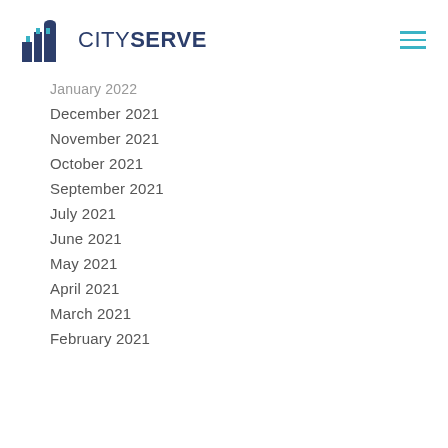CITYSERVE
January 2022
December 2021
November 2021
October 2021
September 2021
July 2021
June 2021
May 2021
April 2021
March 2021
February 2021